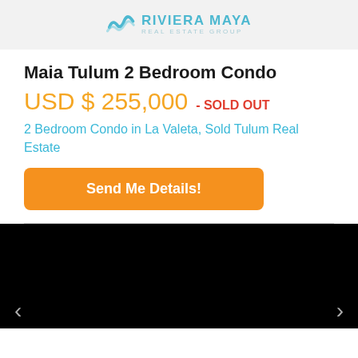RIVIERA MAYA REAL ESTATE GROUP
Maia Tulum 2 Bedroom Condo
USD $ 255,000 - SOLD OUT
2 Bedroom Condo in La Valeta, Sold Tulum Real Estate
Send Me Details!
[Figure (photo): Black image placeholder with left and right navigation arrows at bottom]